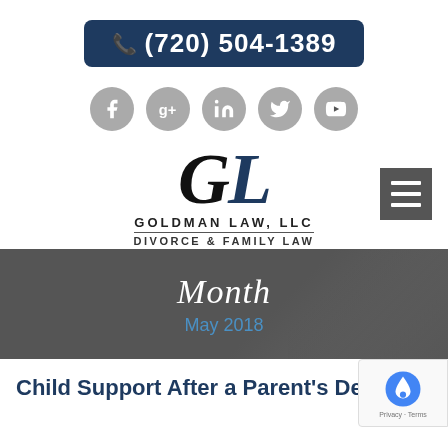(720) 504-1389
[Figure (logo): Social media icons row: Facebook, Google+, LinkedIn, Twitter, YouTube]
[Figure (logo): Goldman Law, LLC - Divorce & Family Law logo with GL initials and hamburger menu button]
Month
May 2018
Child Support After a Parent's Death